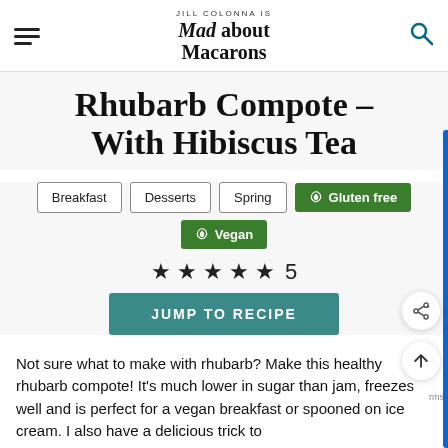JILL COLONNA IS Mad about Macarons
Rhubarb Compote – With Hibiscus Tea
Breakfast
Desserts
Spring
Gluten free
Vegan
5 stars rating
JUMP TO RECIPE
Not sure what to make with rhubarb? Make this healthy rhubarb compote! It's much lower in sugar than jam, freezes well and is perfect for a vegan breakfast or spooned on ice cream. I also have a delicious trick to